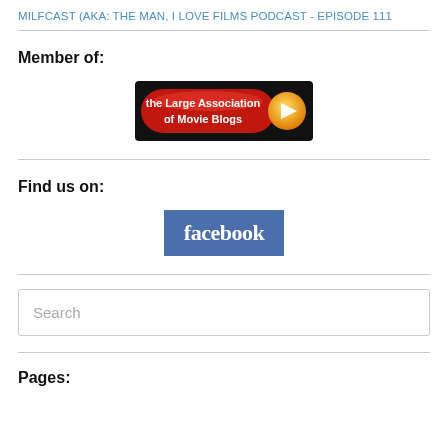MILFCAST (AKA: THE MAN, I LOVE FILMS PODCAST - EPISODE 111
Member of:
[Figure (logo): The Large Association of Movie Blogs badge - red and orange pill-shaped button with play icon]
Find us on:
[Figure (logo): Facebook logo badge - blue rectangle with white 'facebook' text]
Search
Pages: